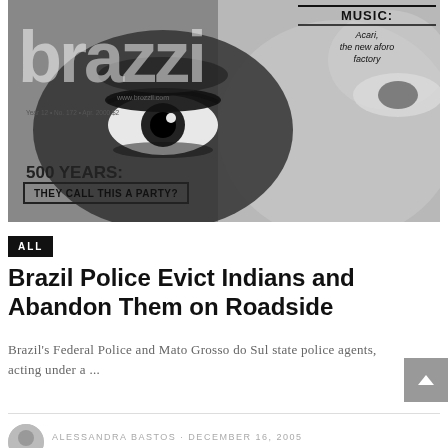[Figure (photo): Black and white magazine cover of 'brazzi' magazine, Year 12, No. 172, April 2000, $2. Shows a close-up of a person's eye and face. Text on cover: MUSIC: Acari, the new aforo factory. 500 YEARS: THEY CALL THIS A PARTY?]
ALL
Brazil Police Evict Indians and Abandon Them on Roadside
Brazil's Federal Police and Mato Grosso do Sul state police agents, acting under a ...
ALESSANDRA BASTOS · DECEMBER 16, 2005